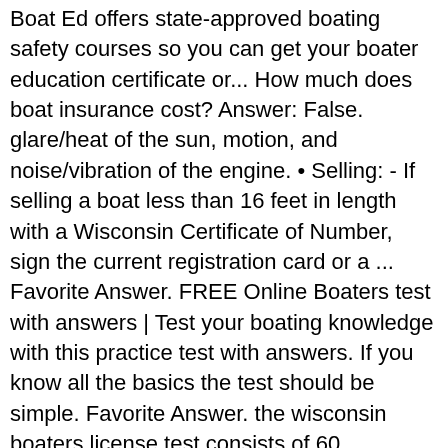Boat Ed offers state-approved boating safety courses so you can get your boater education certificate or... How much does boat insurance cost? Answer: False. glare/heat of the sun, motion, and noise/vibration of the engine. • Selling: - If selling a boat less than 16 feet in length with a Wisconsin Certificate of Number, sign the current registration card or a ... Favorite Answer. FREE Online Boaters test with answers | Test your boating knowledge with this practice test with answers. If you know all the basics the test should be simple. Favorite Answer. the wisconsin boaters license test consists of 60 questions, to pass you will need to get a score of 80% or better (48 questions correct). We offer the best selection of boats to choose from. Boating License. Created by. ... boating exam - questions and answers. Haley_Downey. 40 terms. You'll get 20 levels of interactive lessons and unlimited practice tests designed to prepare you for the Wisconsin written knowledge... https://www.aceable.com/drivers-ed/wisconsin/. Other, please specify . Wisconsin Boating License & Boat Safety Course | Boat Ed®, boating exam - questions and answers Flashcards | Quizlet.